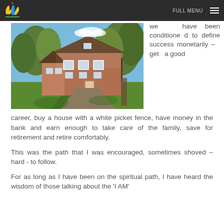[Figure (photo): Photo of a brick country house with trees and driveway, sunny day with green lawn]
we have been conditioned to define success monetarily – get a good career, buy a house with a white picket fence, have money in the bank and earn enough to take care of the family, save for retirement and retire comfortably.
This was the path that I was encouraged, sometimes shoved – hard - to follow.
For as long as I have been on the spiritual path, I have heard the wisdom of those talking about the 'I AM'